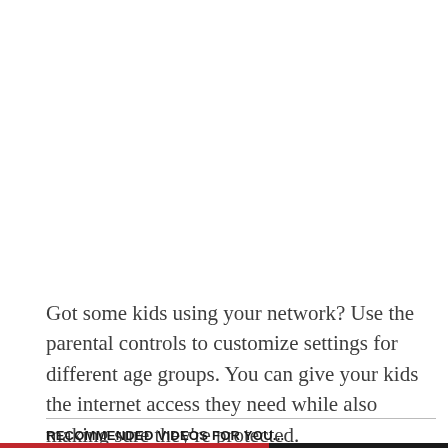Got some kids using your network? Use the parental controls to customize settings for different age groups. You can give your kids the internet access they need while also making sure they're protected.
RECOMMENDED VIDEOS FOR YOU...